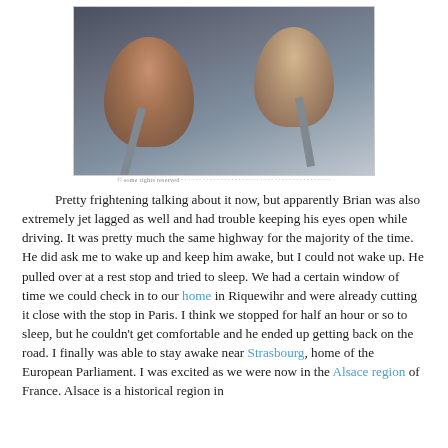[Figure (photo): Two children in car seats in the back seat of a car. The child on the left appears to be sleeping with a teal travel pillow. The child on the right is awake and looking forward. There are bags and belongings visible around them.]
Pretty frightening talking about it now, but apparently Brian was also extremely jet lagged as well and had trouble keeping his eyes open while driving. It was pretty much the same highway for the majority of the time. He did ask me to wake up and keep him awake, but I could not wake up. He pulled over at a rest stop and tried to sleep. We had a certain window of time we could check in to our home in Riquewihr and were already cutting it close with the stop in Paris. I think we stopped for half an hour or so to sleep, but he couldn't get comfortable and he ended up getting back on the road. I finally was able to stay awake near Strasbourg, home of the European Parliament. I was excited as we were now in the Alsace region of France. Alsace is a historical region in